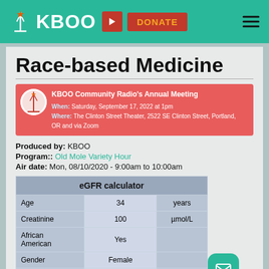KBOO | DONATE
Race-based Medicine
KBOO Community Radio's Annual Meeting
When: Saturday, September 17, 2022 at 1pm
Where: The Clinton Street Theater, 2522 SE Clinton Street, Portland, OR and via Zoom
Produced by: KBOO
Program:: Old Mole Variety Hour
Air date: Mon, 08/10/2020 - 9:00am to 10:00am
| eGFR calculator |  |  |
| --- | --- | --- |
| Age | 34 | years |
| Creatinine | 100 | µmol/L |
| African American | Yes |  |
| Gender | Female |  |
| Height | To be input |  |